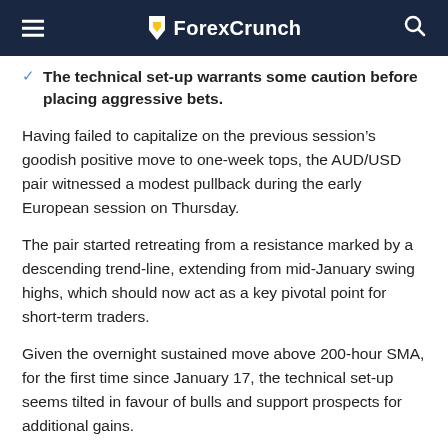ForexCrunch
The technical set-up warrants some caution before placing aggressive bets.
Having failed to capitalize on the previous session’s goodish positive move to one-week tops, the AUD/USD pair witnessed a modest pullback during the early European session on Thursday.
The pair started retreating from a resistance marked by a descending trend-line, extending from mid-January swing highs, which should now act as a key pivotal point for short-term traders.
Given the overnight sustained move above 200-hour SMA, for the first time since January 17, the technical set-up seems tilted in favour of bulls and support prospects for additional gains.